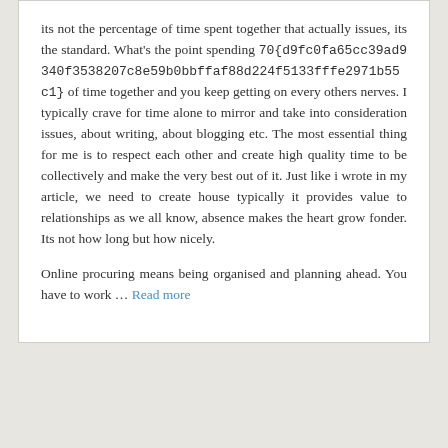its not the percentage of time spent together that actually issues, its the standard. What's the point spending 70{d9fc0fa65cc39ad9340f3538207c8e59b0bbffaf88d224f5133fffe2971b55c1} of time together and you keep getting on every others nerves. I typically crave for time alone to mirror and take into consideration issues, about writing, about blogging etc. The most essential thing for me is to respect each other and create high quality time to be collectively and make the very best out of it. Just like i wrote in my article, we need to create house typically it provides value to relationships as we all know, absence makes the heart grow fonder. Its not how long but how nicely.
Online procuring means being organised and planning ahead. You have to work ... Read more